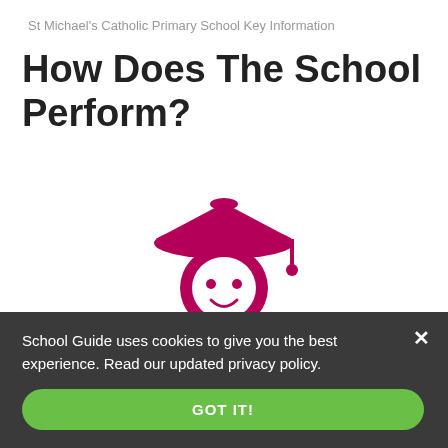St Michael's Catholic Primary School Key Information
How Does The School Perform?
[Figure (illustration): Graduation cap student icon with rating scale 1 2 3 4 below, number 2 highlighted in a dark pink circle]
Ofsted Inspection
(23/5/17)
School Guide uses cookies to give you the best experience. Read our updated privacy policy.
GOT IT!